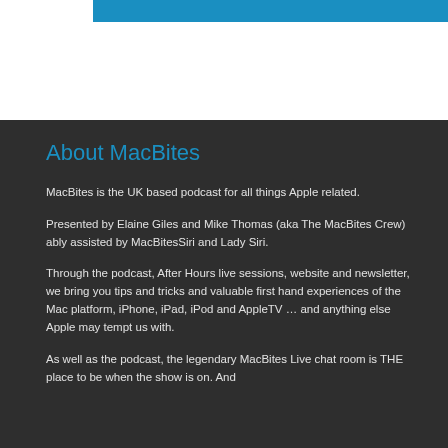About MacBites
MacBites is the UK based podcast for all things Apple related.
Presented by Elaine Giles and Mike Thomas (aka The MacBites Crew) ably assisted by MacBitesSiri and Lady Siri.
Through the podcast, After Hours live sessions, website and newsletter, we bring you tips and tricks and valuable first hand experiences of the Mac platform, iPhone, iPad, iPod and AppleTV … and anything else Apple may tempt us with.
As well as the podcast, the legendary MacBites Live chat room is THE place to be when the show is on. And